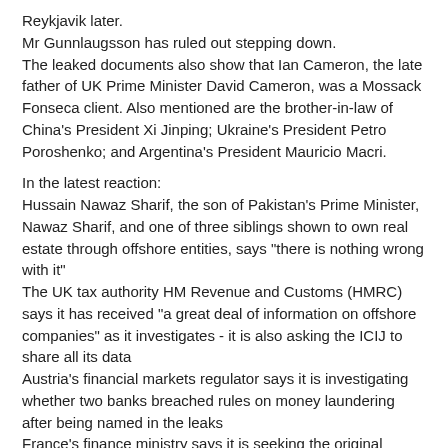Reykjavik later.
Mr Gunnlaugsson has ruled out stepping down.
The leaked documents also show that Ian Cameron, the late father of UK Prime Minister David Cameron, was a Mossack Fonseca client. Also mentioned are the brother-in-law of China's President Xi Jinping; Ukraine's President Petro Poroshenko; and Argentina's President Mauricio Macri.
In the latest reaction:
Hussain Nawaz Sharif, the son of Pakistan's Prime Minister, Nawaz Sharif, and one of three siblings shown to own real estate through offshore entities, says "there is nothing wrong with it"
The UK tax authority HM Revenue and Customs (HMRC) says it has received "a great deal of information on offshore companies" as it investigates - it is also asking the ICIJ to share all its data
Austria's financial markets regulator says it is investigating whether two banks breached rules on money laundering after being named in the leaks
France's finance ministry says it is seeking the original documents in the leak for its own investigation
Australia's tax office says it is investigating 800 individuals named in the leaks